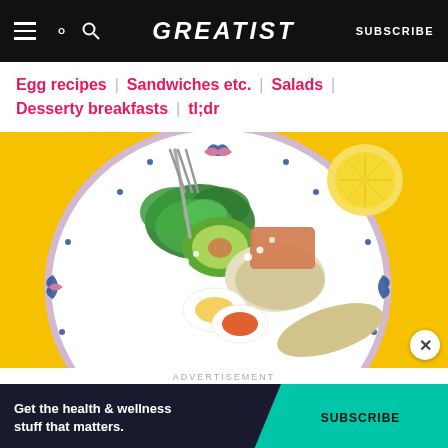GREATIST | SUBSCRIBE
Egg recipes | Sandwiches etc. | Salads |
Desserty breakfasts | tl;dr
[Figure (photo): Overhead photo of a decorative floral plate on yellow background with a soft-boiled egg halves, avocado, greens, quinoa or couscous, and a fork. A halved lemon is beside the plate.]
ADVERTISEMENT
Get the health & wellness stuff that matters. SUBSCRIBE